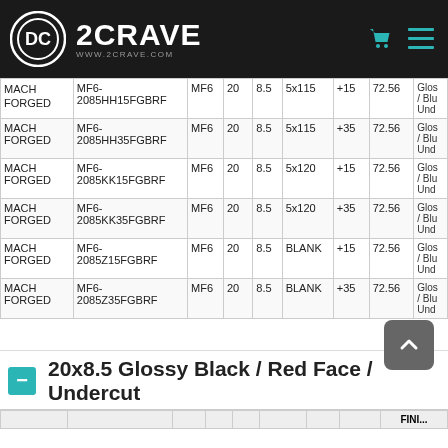[Figure (logo): 2CRAVE wheel brand logo with circular icon and www.2crave.com URL, white on dark background navigation bar]
| Brand | SKU | Model | Diameter | Width | Bolt Pattern | Offset | Bore | Finish |
| --- | --- | --- | --- | --- | --- | --- | --- | --- |
| MACH FORGED | MF6-2085HH15FGBRF | MF6 | 20 | 8.5 | 5x115 | +15 | 72.56 | Glos/ Blu Und |
| MACH FORGED | MF6-2085HH35FGBRF | MF6 | 20 | 8.5 | 5x115 | +35 | 72.56 | Glos/ Blu Und |
| MACH FORGED | MF6-2085KK15FGBRF | MF6 | 20 | 8.5 | 5x120 | +15 | 72.56 | Glos/ Blu Und |
| MACH FORGED | MF6-2085KK35FGBRF | MF6 | 20 | 8.5 | 5x120 | +35 | 72.56 | Glos/ Blu Und |
| MACH FORGED | MF6-2085Z15FGBRF | MF6 | 20 | 8.5 | BLANK | +15 | 72.56 | Glos/ Blu Und |
| MACH FORGED | MF6-2085Z35FGBRF | MF6 | 20 | 8.5 | BLANK | +35 | 72.56 | Glos/ Blu Und |
20x8.5 Glossy Black / Red Face / Undercut
| FINI... |
| --- |
|  |